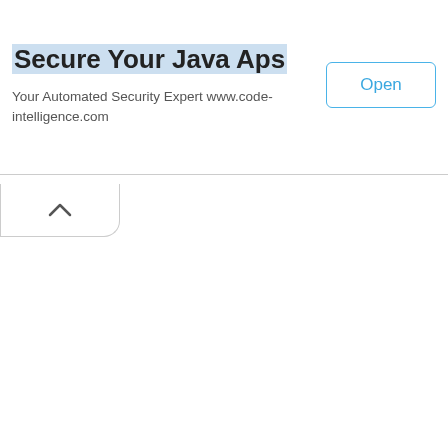Secure Your Java Aps
Your Automated Security Expert www.code-intelligence.com
[Figure (screenshot): Open button with blue border and blue text, and a collapse/chevron tab below the ad banner]